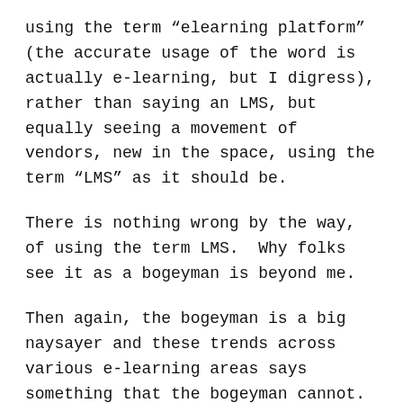using the term “eleaning platform” (the accurate usage of the word is actually e-learning, but I digress), rather than saying an LMS, but equally seeing a movement of vendors, new in the space, using the term “LMS” as it should be.
There is nothing wrong by the way, of using the term LMS.  Why folks see it as a bogeyman is beyond me.
Then again, the bogeyman is a big naysayer and these trends across various e-learning areas says something that the bogeyman cannot.
Happiness isn’t around the corner.
It’s already here.